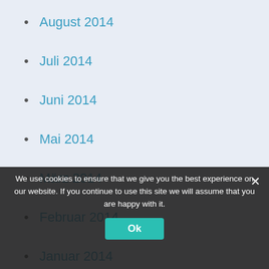August 2014
Juli 2014
Juni 2014
Mai 2014
März 2014
Februar 2014
Januar 2014
Dezember 2013
Oktober 2013
Juli 2012
Juni 2012
Dezember 2011
Oktober 2011
We use cookies to ensure that we give you the best experience on our website. If you continue to use this site we will assume that you are happy with it.